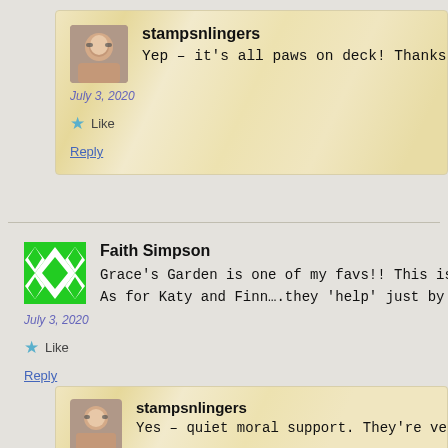stampsnlingers
Yep – it's all paws on deck! Thanks so m
July 3, 2020
Like
Reply
Faith Simpson
Grace's Garden is one of my favs!! This is s
As for Katy and Finn….they 'help' just by bei
July 3, 2020
Like
Reply
stampsnlingers
Yes – quiet moral support. They're very
July 3, 2020